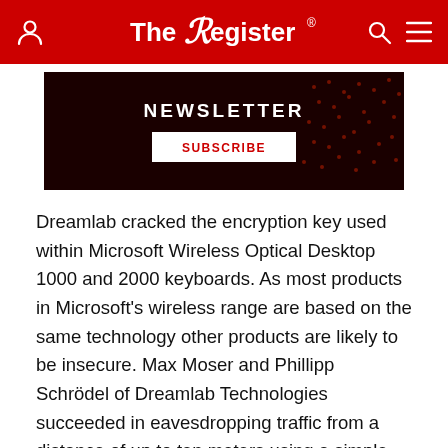The Register
[Figure (screenshot): Newsletter subscription banner with dark red background and SUBSCRIBE button]
Dreamlab cracked the encryption key used within Microsoft Wireless Optical Desktop 1000 and 2000 keyboards. As most products in Microsoft's wireless range are based on the same technology other products are likely to be insecure. Max Moser and Phillipp Schrödel of Dreamlab Technologies succeeded in eavesdropping traffic from a distance of up to ten meters using a simple radio receiver. More sensitive receivers may make it possible to capture keystrokes over larger distances.
Sniffing traffic between wireless keyboards and their